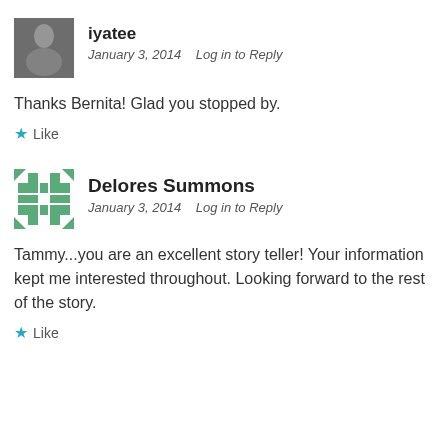[Figure (photo): Avatar photo of iyatee - black and white image of a person]
iyatee
January 3, 2014    Log in to Reply
Thanks Bernita! Glad you stopped by.
★ Like
[Figure (illustration): Default avatar for Delores Summons - green pixel/grid pattern icon]
Delores Summons
January 3, 2014    Log in to Reply
Tammy...you are an excellent story teller! Your information kept me interested throughout. Looking forward to the rest of the story.
★ Like